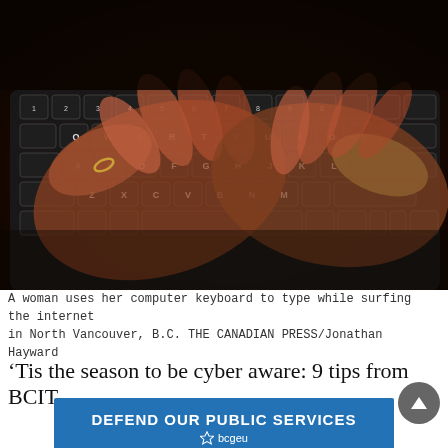[Figure (photo): Hands typing on a dark illuminated keyboard, close-up photo. Keyboard keys visible including Q, E, R, T, Y, G, H, V, B, N and number/symbol keys. Dark moody lighting.]
A woman uses her computer keyboard to type while surfing the internet in North Vancouver, B.C. THE CANADIAN PRESS/Jonathan Hayward
‘Tis the season to be cyber aware: 9 tips from BCIT
[Figure (logo): BCGEU banner: DEFEND OUR PUBLIC SERVICES with bcgeu star logo below on blue background]